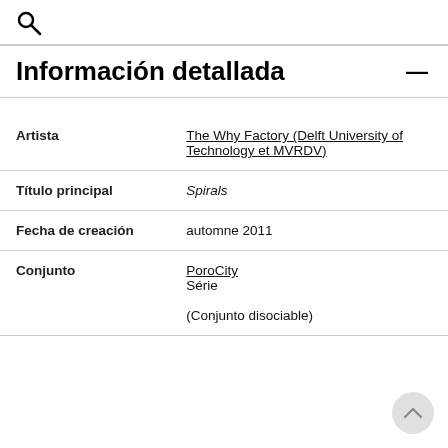🔍
Información detallada
| Artista | The Why Factory (Delft University of Technology et MVRDV) |
| Título principal | Spirals |
| Fecha de creación | automne 2011 |
| Conjunto | PoroCity
Série
(Conjunto disociable) |